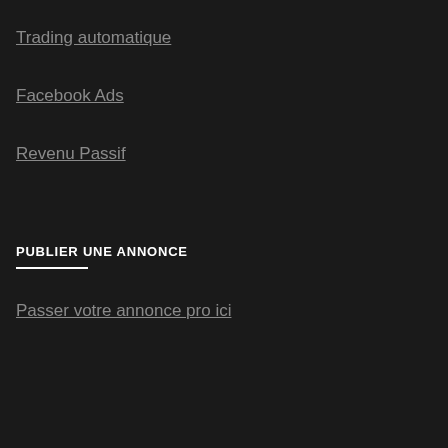Trading automatique
Facebook Ads
Revenu Passif
PUBLIER UNE ANNONCE
Passer votre annonce pro ici